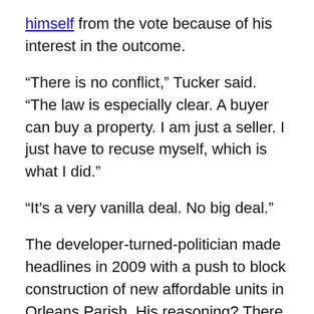himself from the vote because of his interest in the outcome.
“There is no conflict,” Tucker said. “The law is especially clear. A buyer can buy a property. I am just a seller. I just have to recuse myself, which is what I did.”
“It’s a very vanilla deal. No big deal.”
The developer-turned-politician made headlines in 2009 with a push to block construction of new affordable units in Orleans Parish. His reasoning? There was an “excess supply,” he said, according to The Times-Picayune. Despite his call for a